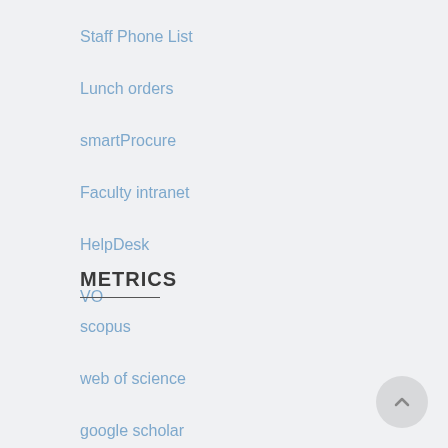Staff Phone List
Lunch orders
smartProcure
Faculty intranet
HelpDesk
VO
METRICS
scopus
web of science
google scholar
Journal Impact Factors